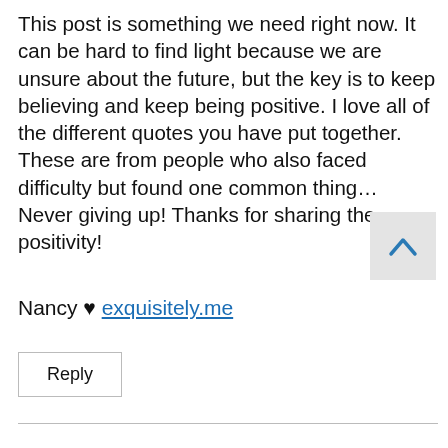This post is something we need right now. It can be hard to find light because we are unsure about the future, but the key is to keep believing and keep being positive. I love all of the different quotes you have put together. These are from people who also faced difficulty but found one common thing… Never giving up! Thanks for sharing the positivity!
Nancy ♥ exquisitely.me
Reply